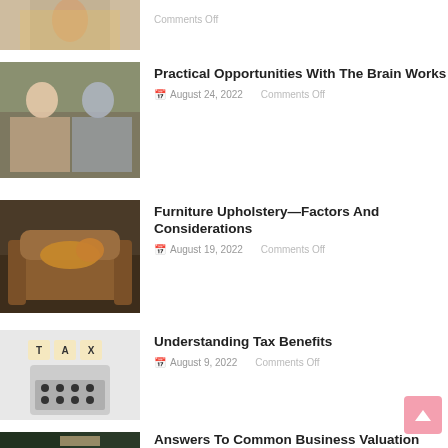[Figure (photo): Partial view of a woman in colorful attire sitting cross-legged]
Comments Off
[Figure (photo): Two people sitting cross-legged meditating on a wooden floor]
Practical Opportunities With The Brain Works
August 24, 2022
Comments Off
[Figure (photo): A dog lying on a brown leather armchair]
Furniture Upholstery—Factors And Considerations
August 19, 2022
Comments Off
[Figure (photo): Calculator with TAX letter tiles on top]
Understanding Tax Benefits
August 9, 2022
Comments Off
[Figure (photo): Person working at a desk with laptop and documents]
Answers To Common Business Valuation Questions